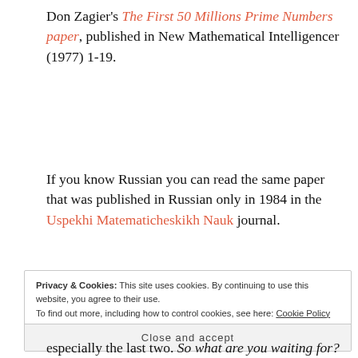Don Zagier's The First 50 Millions Prime Numbers paper, published in New Mathematical Intelligencer (1977) 1-19.
If you know Russian you can read the same paper that was published in Russian only in 1984 in the Uspekhi Matematicheskikh Nauk journal.
[Figure (other): Advertisement banner with text 'Build a better web and a better world.' and navigation arrows on left and right]
Privacy & Cookies: This site uses cookies. By continuing to use this website, you agree to their use. To find out more, including how to control cookies, see here: Cookie Policy
Close and accept
especially the last two. So what are you waiting for?